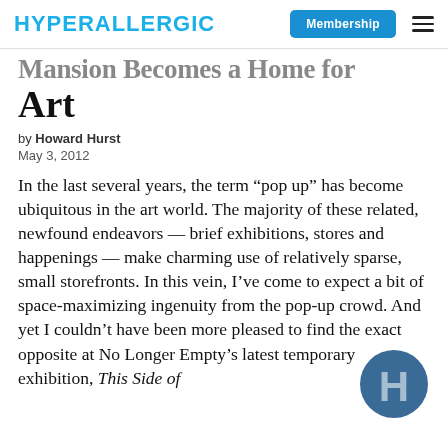HYPERALLERGIC | Membership
Mansion Becomes a Home for Art
by Howard Hurst
May 3, 2012
In the last several years, the term “pop up” has become ubiquitous in the art world. The majority of these related, newfound endeavors — brief exhibitions, stores and happenings — make charming use of relatively sparse, small storefronts. In this vein, I’ve come to expect a bit of space-maximizing ingenuity from the pop-up crowd. And yet I couldn’t have been more pleased to find the exact opposite at No Longer Empty’s latest temporary exhibition, This Side of